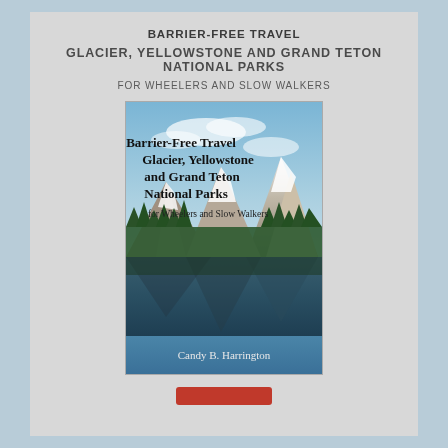BARRIER-FREE TRAVEL
GLACIER, YELLOWSTONE AND GRAND TETON NATIONAL PARKS
FOR WHEELERS AND SLOW WALKERS
[Figure (illustration): Book cover for 'Barrier-Free Travel Glacier, Yellowstone and Grand Teton National Parks for Wheelers and Slow Walkers' by Candy B. Harrington. Shows a mountain lake landscape with snow-capped peaks reflected in calm water, surrounded by evergreen trees. Author name appears in a blue band at the bottom.]